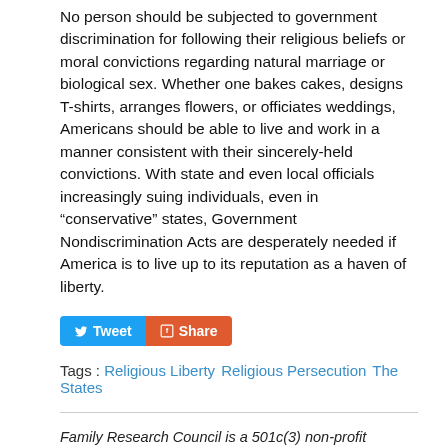No person should be subjected to government discrimination for following their religious beliefs or moral convictions regarding natural marriage or biological sex. Whether one bakes cakes, designs T-shirts, arranges flowers, or officiates weddings, Americans should be able to live and work in a manner consistent with their sincerely-held convictions. With state and even local officials increasingly suing individuals, even in “conservative” states, Government Nondiscrimination Acts are desperately needed if America is to live up to its reputation as a haven of liberty.
Tags : Religious Liberty Religious Persecution The States
Family Research Council is a 501c(3) non-profit organization. If this post has been helpful to you, please consider a gift to help us continue to advance Faith, Family, and Freedom.
The Daunting Journey of Millennials »
« Biden’s State Department Slips Abortion into Human Rights Report